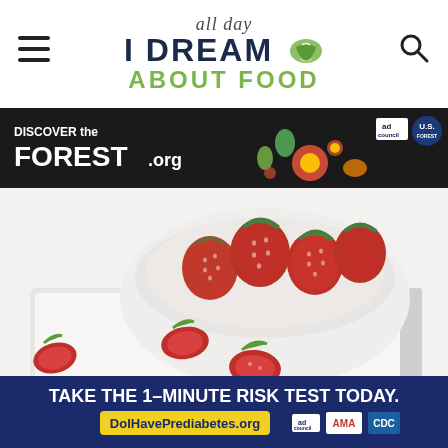all day I DREAM ABOUT FOOD
[Figure (screenshot): Ad banner: DISCOVER the FOREST.org with colorful flower illustrations, ad council and US Forest Service logos]
[Figure (photo): Fresh red strawberries in a white bowl on a white tray, with sliced strawberries laid out on parchment paper on the tray. A heart/like button badge shows 174 likes.]
[Figure (screenshot): Ad banner: TAKE THE 1-MINUTE RISK TEST TODAY. DoIHavePrediabetes.org with ad council, AMA, and CDC logos on navy blue background]